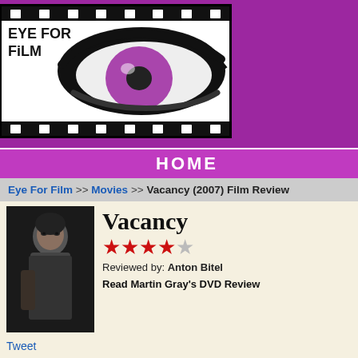[Figure (logo): Eye For Film website logo with film strip border, stylized eye graphic with purple iris, and text 'EYE FOR FILM']
HOME
Eye For Film >> Movies >> Vacancy (2007) Film Review
Vacancy
[Figure (other): 4 out of 5 stars rating for Vacancy]
Reviewed by: Anton Bitel
Read Martin Gray's DVD Review
Tweet
In Dead Calm (1989), a couple grieving the tragic death of their son are pulled back when a charismatic lunatic tries to murder them on their ocean-bound yacht. In The (2005), after her husband and son die in a horrific accident, a woman confronts her psychic trauma by waging primal battle with cave-dwelling mutants. In Syriana (20 whose young son has recently drowned faces his pain by championing an idealist